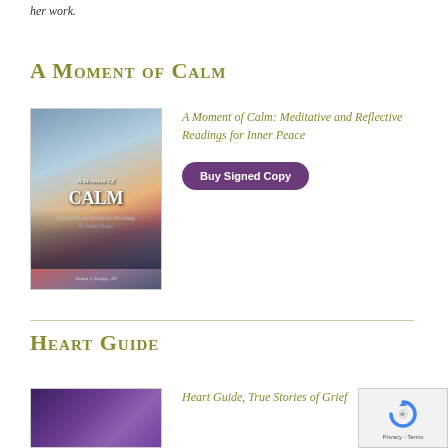her work.
A Moment of Calm
[Figure (photo): Book cover of 'A Moment of Calm: Meditative and Reflective Readings for Inner Peace' showing a serene lake at sunset with silhouetted dock posts]
A Moment of Calm: Meditative and Reflective Readings for Inner Peace
Buy Signed Copy
Heart Guide
[Figure (photo): Partial book cover of 'Heart Guide, True Stories of Grief' showing a purple/violet night sky scene]
Heart Guide, True Stories of Grief